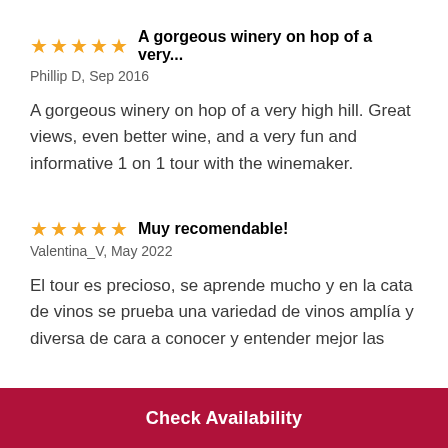⭐⭐⭐⭐⭐ A gorgeous winery on hop of a very...
Phillip D, Sep 2016
A gorgeous winery on hop of a very high hill. Great views, even better wine, and a very fun and informative 1 on 1 tour with the winemaker.
⭐⭐⭐⭐⭐ Muy recomendable!
Valentina_V, May 2022
El tour es precioso, se aprende mucho y en la cata de vinos se prueba una variedad de vinos amplía y diversa de cara a conocer y entender mejor las
Check Availability